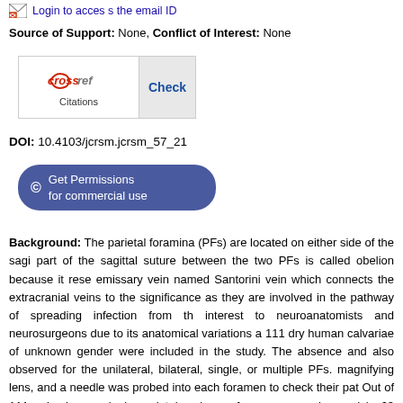Login to access the email ID
Source of Support: None, Conflict of Interest: None
[Figure (logo): CrossRef Check Citations logo button with Check link]
DOI: 10.4103/jcrsm.jcrsm_57_21
[Figure (other): Get Permissions for commercial use button]
Background: The parietal foramina (PFs) are located on either side of the sagi... part of the sagittal suture between the two PFs is called obelion because it rese... emissary vein named Santorini vein which connects the extracranial veins to the... significance as they are involved in the pathway of spreading infection from th... interest to neuroanatomists and neurosurgeons due to its anatomical variations a... 111 dry human calvariae of unknown gender were included in the study. The... absence and also observed for the unilateral, bilateral, single, or multiple PFs... magnifying lens, and a needle was probed into each foramen to check their pat... Out of 111 calvariae, a single parietal emissary foramen was observed in 63... parietal bone, and absence of parietal emissary foramen on right parietal bone... bilateral absence in 23 (20.7%) of the parietal bones. The presence of parietal e... (1.8%) of skulls and also noted the single, double, multiple PF in 56.7%, 2.7%, 1... of PF that was observed were circle shape on the right side 60.2%, on the left...